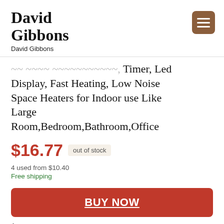David Gibbons
David Gibbons
... with Thermostat, Timer, Led Display, Fast Heating, Low Noise Space Heaters for Indoor use Like Large Room,Bedroom,Bathroom,Office
$16.77 out of stock
4 used from $10.40
Free shipping
BUY NOW
Amazon.com
as of August 29, 2022 9:52 pm